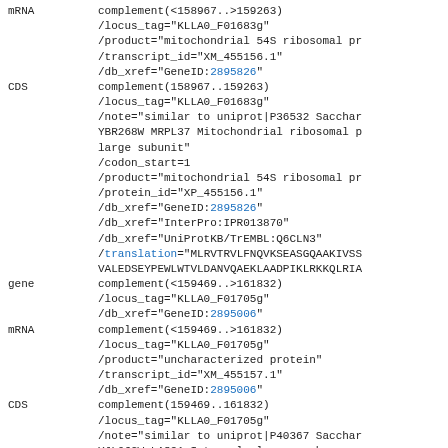mRNA    complement(<158967..>159263)
    /locus_tag="KLLA0_F01683g"
    /product="mitochondrial 54S ribosomal pr
    /transcript_id="XM_455156.1"
    /db_xref="GeneID:2895826"
CDS     complement(158967..159263)
    /locus_tag="KLLA0_F01683g"
    /note="similar to uniprot|P36532 Sacchar
    YBR268W MRPL37 Mitochondrial ribosomal p
    large subunit"
    /codon_start=1
    /product="mitochondrial 54S ribosomal pr
    /protein_id="XP_455156.1"
    /db_xref="GeneID:2895826"
    /db_xref="InterPro:IPR013870"
    /db_xref="UniProtKB/TrEMBL:Q6CLN3"
    /translation="MLRVTRVLFNQVKSEASGQAAKIVSS
    VALEDSEYPEWLWTVLDANVQAEKLAADPIKLRKKQLRIA
gene    complement(<159469..>161832)
    /locus_tag="KLLA0_F01705g"
    /db_xref="GeneID:2895006"
mRNA    complement(<159469..>161832)
    /locus_tag="KLLA0_F01705g"
    /product="uncharacterized protein"
    /transcript_id="XM_455157.1"
    /db_xref="GeneID:2895006"
CDS     complement(159469..161832)
    /locus_tag="KLLA0_F01705g"
    /note="similar to uniprot|P40367 Sacchar
    YJL062W LAS21 Integral plasma membrane p
    the synthesis of the glycosylphosphatidy
    core structure mutations affect cell wal
    /codon_start=1